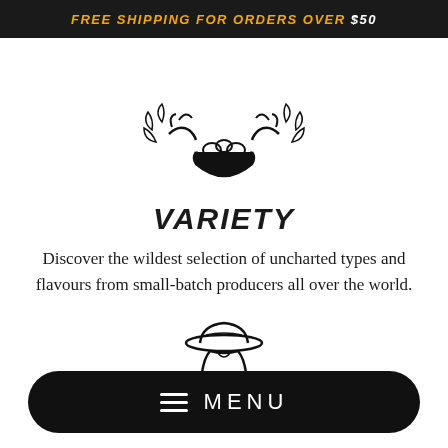FREE SHIPPING FOR ORDERS OVER $50
[Figure (illustration): Line art illustration of two hands reaching into a bowl filled with nuts/seeds, with leaf sprigs around]
VARIETY
Discover the wildest selection of uncharted types and flavours from small-batch producers all over the world.
[Figure (illustration): Line art illustration of a person wearing a wide-brimmed hat, partially visible]
MENU
PURPOSE